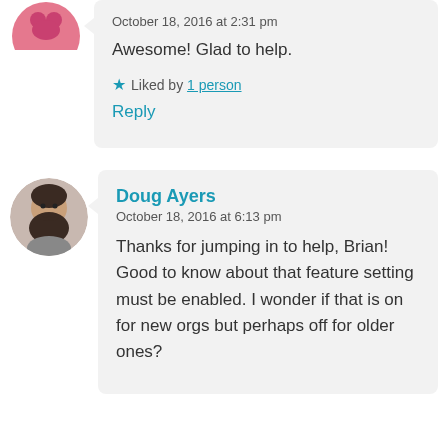[Figure (photo): Partial view of a pink avatar/icon in upper left corner]
October 18, 2016 at 2:31 pm
Awesome! Glad to help.
★ Liked by 1 person
Reply
[Figure (photo): Circular avatar photo of a man with a dark beard]
Doug Ayers
October 18, 2016 at 6:13 pm
Thanks for jumping in to help, Brian! Good to know about that feature setting must be enabled. I wonder if that is on for new orgs but perhaps off for older ones?